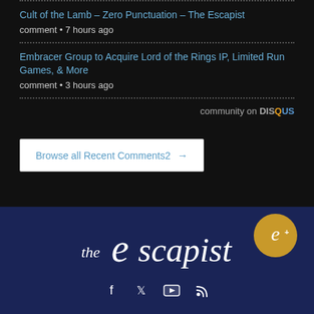Cult of the Lamb – Zero Punctuation – The Escapist
comment • 7 hours ago
Embracer Group to Acquire Lord of the Rings IP, Limited Run Games, & More
comment • 3 hours ago
community on DISQUS
Browse all Recent Comments2 →
[Figure (logo): The Escapist logo in white italic text on dark navy background, with a gold e+ badge circle on the right]
[Figure (infographic): Social media icons: Facebook, Twitter, YouTube, RSS feed]